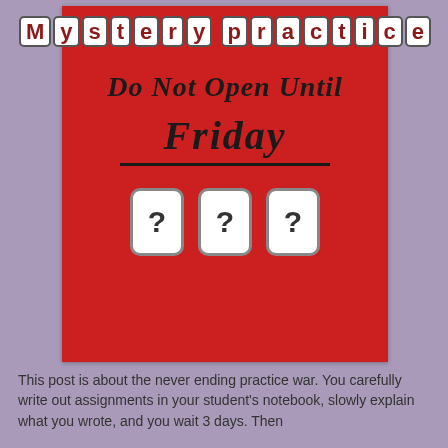[Figure (photo): Photo of a red card with 'Mystery Practice' title in white letter tiles at top, handwritten text 'Do Not Open Until Friday' with underline, and three white question mark tiles at the bottom.]
This post is about the never ending practice war. You carefully write out assignments in your student's notebook, slowly explain what you wrote, and you wait 3 days. Then